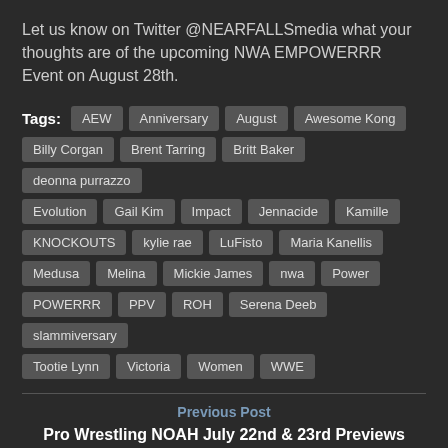Let us know on Twitter @NEARFALLSmedia what your thoughts are of the upcoming NWA EMPOWERRR Event on August 28th.
Tags: AEW, Anniversary, August, Awesome Kong, Billy Corgan, Brent Tarring, Britt Baker, deonna purrazzo, Evolution, Gail Kim, Impact, Jennacide, Kamille, KNOCKOUTS, kylie rae, LuFisto, Maria Kanellis, Medusa, Melina, Mickie James, nwa, Power, POWERRR, PPV, ROH, Serena Deeb, slammiversary, Tootie Lynn, Victoria, Women, WWE
Previous Post
Pro Wrestling NOAH July 22nd & 23rd Previews
Next Post